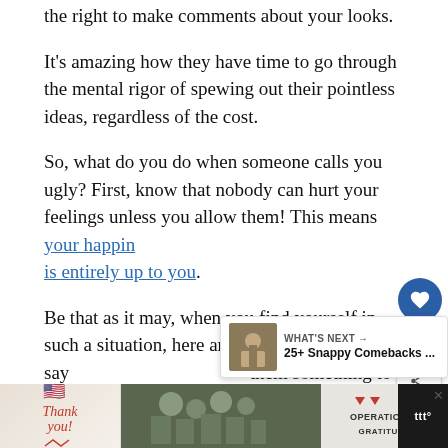the right to make comments about your looks.
It's amazing how they have time to go through the mental rigor of spewing out their pointless ideas, regardless of the cost.
So, what do you do when someone calls you ugly? First, know that nobody can hurt your feelings unless you allow them! This means your happiness is entirely up to you.
Be that as it may, when you find yourself in such a situation, here are ideas of what to say them something to consider!
[Figure (infographic): Ad banner at bottom: Operation Gratitude thank you ad with military imagery]